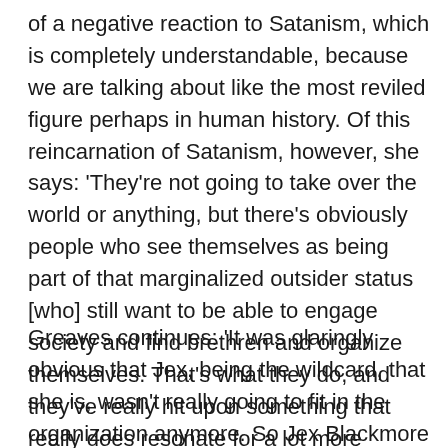of a negative reaction to Satanism, which is completely understandable, because we are talking about like the most reviled figure perhaps in human history. Of this reincarnation of Satanism, however, she says: 'They're not going to take over the world or anything, but there's obviously people who see themselves as being part of that marginalized outsider status [who] still want to be able to engage society and find brethren and organize themselves. That's what they do, and they've really hit upon something that really does resonate for a lot more people than maybe I thought at the beginning'
Greaves continues: 'It was glaringly obvious that Jex, being the wildcard, that she is, wasn't really going to fit in the organization anymore. So Jex Blackmore is no longer part of the temple at this